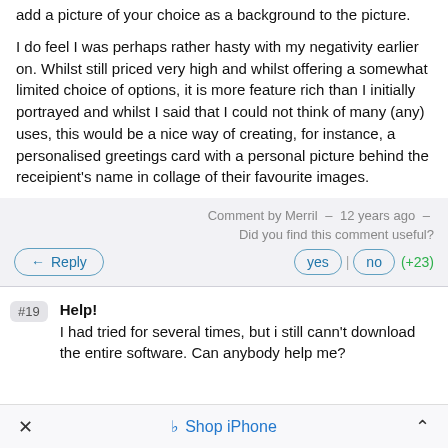add a picture of your choice as a background to the picture.
I do feel I was perhaps rather hasty with my negativity earlier on. Whilst still priced very high and whilst offering a somewhat limited choice of options, it is more feature rich than I initially portrayed and whilst I said that I could not think of many (any) uses, this would be a nice way of creating, for instance, a personalised greetings card with a personal picture behind the receipient's name in collage of their favourite images.
Comment by Merril  –  12 years ago  –
Did you find this comment useful?
Reply
yes | no (+23)
#19  Help!
I had tried for several times, but i still cann't download the entire software. Can anybody help me?
Shop iPhone